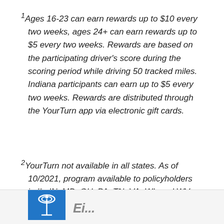1Ages 16-23 can earn rewards up to $10 every two weeks, ages 24+ can earn rewards up to $5 every two weeks. Rewards are based on the participating driver's score during the scoring period while driving 50 tracked miles. Indiana participants can earn up to $5 every two weeks. Rewards are distributed through the YourTurn app via electronic gift cards.
2YourTurn not available in all states. As of 10/2021, program available to policyholders in IL, IN, MD, OH, PA, TN, VA, WI, and WV.
3ID cards not available in New York.
[Figure (logo): Insurance company logo — blue square with white tower/beacon icon, followed by partial company name text]